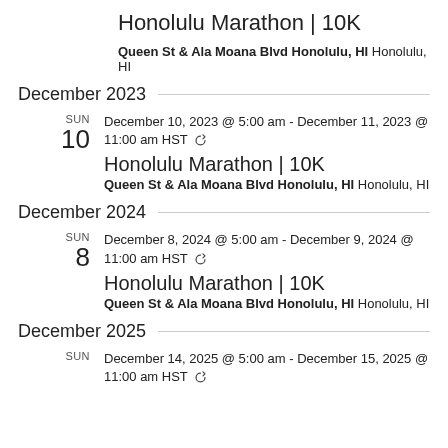Honolulu Marathon | 10K
Queen St & Ala Moana Blvd Honolulu, HI Honolulu, HI
December 2023
December 10, 2023 @ 5:00 am - December 11, 2023 @ 11:00 am HST
Honolulu Marathon | 10K
Queen St & Ala Moana Blvd Honolulu, HI Honolulu, HI
December 2024
December 8, 2024 @ 5:00 am - December 9, 2024 @ 11:00 am HST
Honolulu Marathon | 10K
Queen St & Ala Moana Blvd Honolulu, HI Honolulu, HI
December 2025
December 14, 2025 @ 5:00 am - December 15, 2025 @